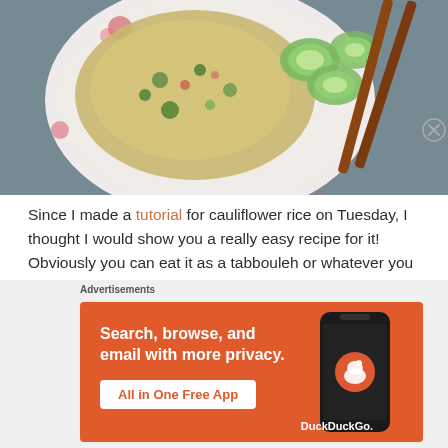[Figure (photo): Top-down view of a floral plate with cauliflower fried rice and cucumber slices, with brown chopsticks resting on the plate, on a blue-grey linen cloth background]
Since I made a tutorial for cauliflower rice on Tuesday, I thought I would show you a really easy recipe for it! Obviously you can eat it as a tabbouleh or whatever you want, but I thought it was delicious when I made it into cauliflower fried rice.
[Figure (screenshot): DuckDuckGo advertisement: orange banner with white text 'Search, browse, and email with more privacy. All in One Free App' and a smartphone showing the DuckDuckGo app]
Advertisements